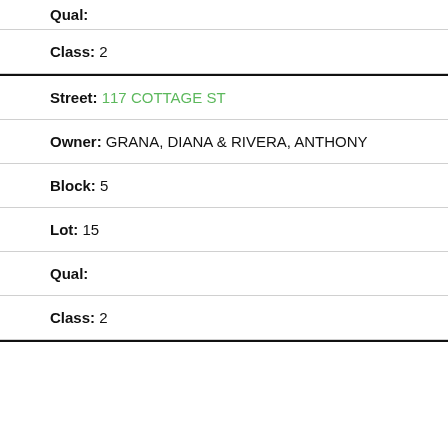Qual:
Class: 2
Street: 117 COTTAGE ST
Owner: GRANA, DIANA & RIVERA, ANTHONY
Block: 5
Lot: 15
Qual:
Class: 2